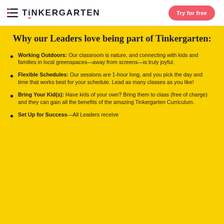TiNKERGARTEN   Try for free
Why our Leaders love being part of Tinkergarten:
Working Outdoors: Our classroom is nature, and connecting with kids and families in local greenspaces—away from screens—is truly joyful.
Flexible Schedules: Our sessions are 1-hour long, and you pick the day and time that works best for your schedule. Lead as many classes as you like!
Bring Your Kid(s): Have kids of your own? Bring them to class (free of charge) and they can gain all the benefits of the amazing Tinkergarten Curriculum.
Set Up for Success—All Leaders receive